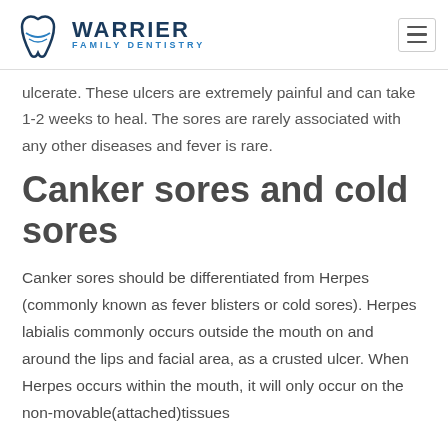WARRIER FAMILY DENTISTRY
ulcerate. These ulcers are extremely painful and can take 1-2 weeks to heal. The sores are rarely associated with any other diseases and fever is rare.
Canker sores and cold sores
Canker sores should be differentiated from Herpes (commonly known as fever blisters or cold sores). Herpes labialis commonly occurs outside the mouth on and around the lips and facial area, as a crusted ulcer. When Herpes occurs within the mouth, it will only occur on the non-movable(attached)tissues